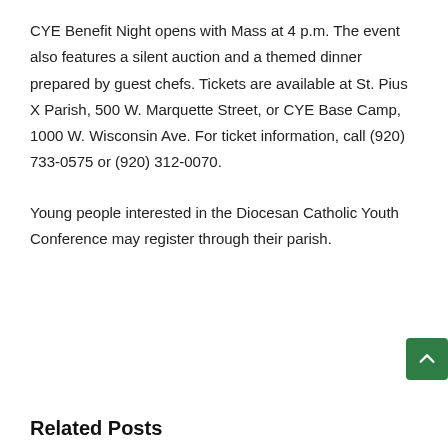CYE Benefit Night opens with Mass at 4 p.m. The event also features a silent auction and a themed dinner prepared by guest chefs. Tickets are available at St. Pius X Parish, 500 W. Marquette Street, or CYE Base Camp, 1000 W. Wisconsin Ave. For ticket information, call (920) 733-0575 or (920) 312-0070.
Young people interested in the Diocesan Catholic Youth Conference may register through their parish.
Related Posts